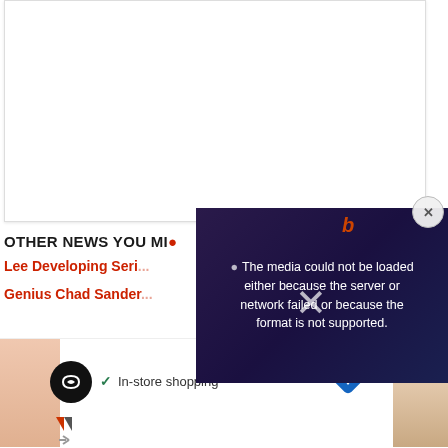[Figure (screenshot): White content area box, top portion of a web article page]
OTHER NEWS YOU MI...
Lee Developing Seri...
Genius Chad Sander...
[Figure (screenshot): Video player overlay showing error message: The media could not be loaded either because the server or network failed or because the format is not supported.]
[Figure (screenshot): Advertisement strip at bottom with In-store shopping text, logo, navigation icon, and partial image]